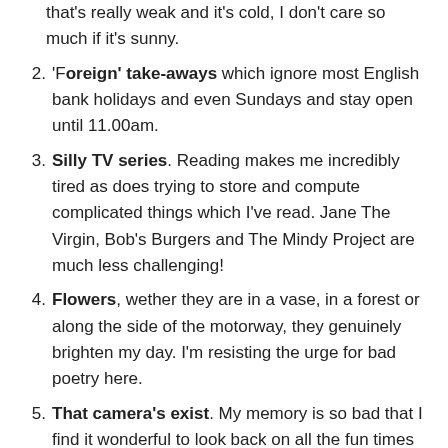that's really weak and it's cold, I don't care so much if it's sunny.
'Foreign' take-aways which ignore most English bank holidays and even Sundays and stay open until 11.00am.
Silly TV series. Reading makes me incredibly tired as does trying to store and compute complicated things which I've read. Jane The Virgin, Bob's Burgers and The Mindy Project are much less challenging!
Flowers, wether they are in a vase, in a forest or along the side of the motorway, they genuinely brighten my day. I'm resisting the urge for bad poetry here.
That camera's exist. My memory is so bad that I find it wonderful to look back on all the fun times I've had with people and the details